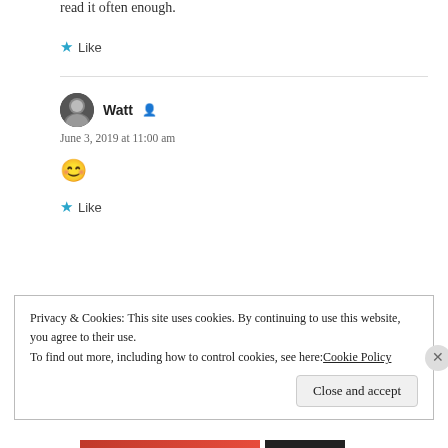read it often enough.
★ Like
Watt ​ June 3, 2019 at 11:00 am 😊 ★ Like
Privacy & Cookies: This site uses cookies. By continuing to use this website, you agree to their use. To find out more, including how to control cookies, see here: Cookie Policy
Close and accept